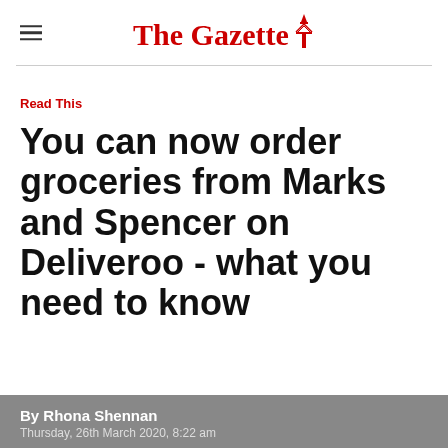The Gazette
Read This
You can now order groceries from Marks and Spencer on Deliveroo - what you need to know
By Rhona Shennan
Thursday, 26th March 2020, 8:22 am